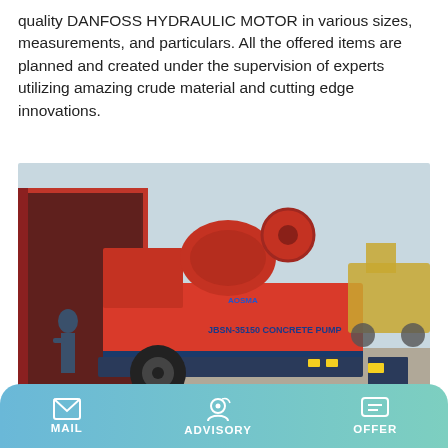quality DANFOSS HYDRAULIC MOTOR in various sizes, measurements, and particulars. All the offered items are planned and created under the supervision of experts utilizing amazing crude material and cutting edge innovations.
Learn More
[Figure (photo): Red concrete pump machine labeled 'JBSN-35150 CONCRETE PUMP' being loaded into a red shipping container, with a person standing nearby and construction equipment visible in the background.]
MAIL   ADVISORY   OFFER